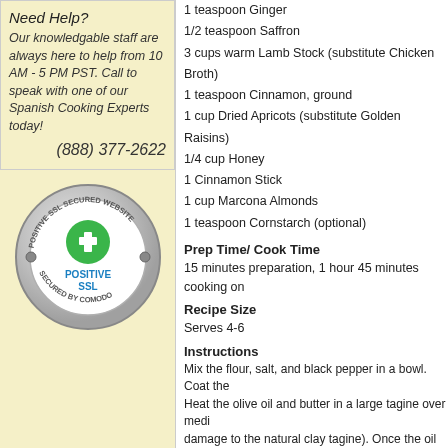Need Help?
Our knowledgable staff are always here to help from 10 AM - 5 PM PST. Call to speak with one of our Spanish Cooking Experts today!
(888) 377-2622
[Figure (logo): Positive SSL Secured Website badge - circular silver/chrome badge with green plus icon and 'POSITIVE SSL' text, 'SECURED BY COMODO' around the bottom]
1 teaspoon Ginger
1/2 teaspoon Saffron
3 cups warm Lamb Stock (substitute Chicken Broth)
1 teaspoon Cinnamon, ground
1 cup Dried Apricots (substitute Golden Raisins)
1/4 cup Honey
1 Cinnamon Stick
1 cup Marcona Almonds
1 teaspoon Cornstarch (optional)
Prep Time/ Cook Time
15 minutes preparation, 1 hour 45 minutes cooking on
Recipe Size
Serves 4-6
Instructions
Mix the flour, salt, and black pepper in a bowl. Coat the Heat the olive oil and butter in a large tagine over medi damage to the natural clay tagine). Once the oil and bu ginger, powdered cinnamon, and saffron. Meanwhile, h browned, add the warm lamb stock (use warm liquid to hot water if necessary to make up for evaporated liquid. Once the meat is to your desired tenderness, transfer a honey (add cornstarch if you desire a thicker sauce; ho cinnamon stick. Drizzle the sauce over the lamb and th
Buy everything that you need for this recipe wit
Add to Cart  Add With One Click: Tagine, Salt, Ol
Buy individual products that you'll need to pu